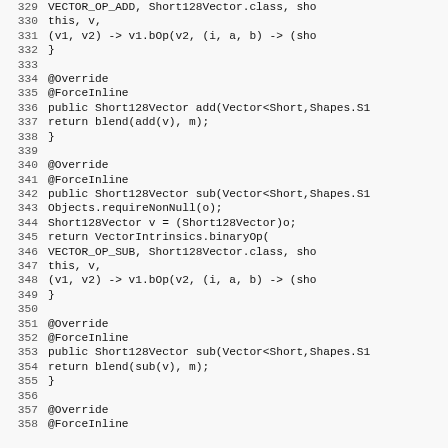Source code listing lines 329-358, Java code for Short128Vector class methods including add and sub with VectorIntrinsics.binaryOp calls